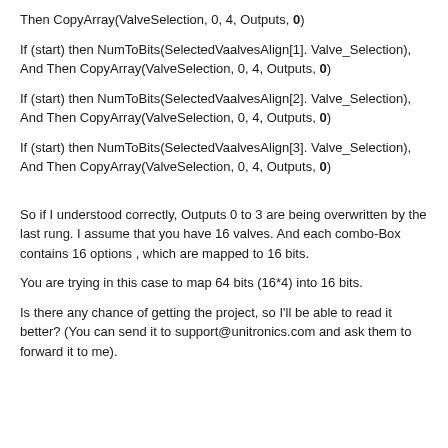Then CopyArray(ValveSelection, 0, 4, Outputs, 0)
If (start) then NumToBits(SelectedVaalvesAlign[1]. Valve_Selection), And Then CopyArray(ValveSelection, 0, 4, Outputs, 0)
If (start) then NumToBits(SelectedVaalvesAlign[2]. Valve_Selection), And Then CopyArray(ValveSelection, 0, 4, Outputs, 0)
If (start) then NumToBits(SelectedVaalvesAlign[3]. Valve_Selection), And Then CopyArray(ValveSelection, 0, 4, Outputs, 0)
So if I understood correctly, Outputs 0 to 3 are being overwritten by the last rung. I assume that you have 16 valves. And each combo-Box contains 16 options , which are mapped to 16 bits.
You are trying in this case to map 64 bits (16*4) into 16 bits.
Is there any chance of getting the project, so I'll be able to read it better? (You can send it to support@unitronics.com and ask them to forward it to me).